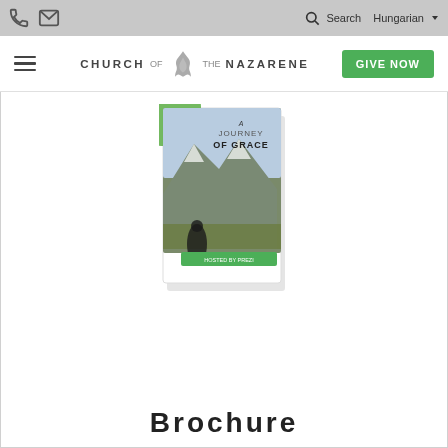Church of the Nazarene website header with phone icon, mail icon, search, Hungarian language selector, hamburger menu, Church of the Nazarene logo, and GIVE NOW button
[Figure (illustration): A brochure titled 'A Journey of Grace' featuring a mountain landscape with a silhouetted figure, displayed as a book/pamphlet mockup with a green accent, shadow and slight tilt effect]
Brochure